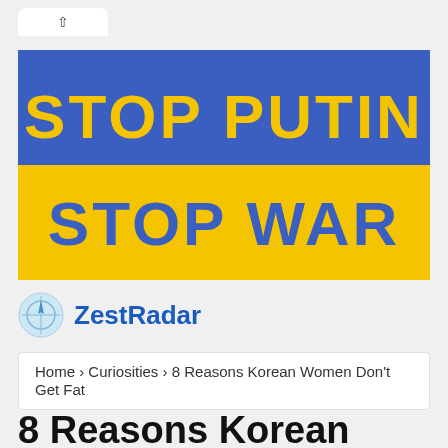[Figure (illustration): Blue and yellow banner with text STOP PUTIN on blue background and STOP WAR on yellow background, styled like Ukrainian flag colors]
[Figure (logo): ZestRadar logo: compass-like circular icon in light blue next to bold blue text reading ZestRadar]
Home › Curiosities › 8 Reasons Korean Women Don't Get Fat
8 Reasons Korean Women